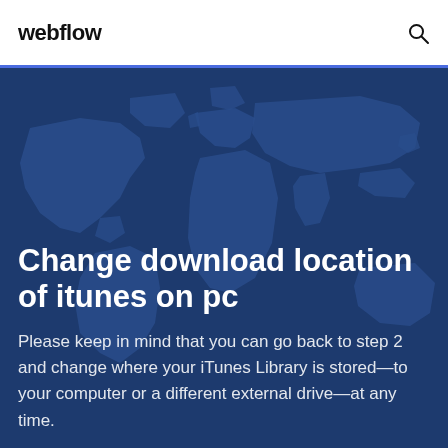webflow
[Figure (illustration): World map illustration with dark navy and teal tones as background for hero section]
Change download location of itunes on pc
Please keep in mind that you can go back to step 2 and change where your iTunes Library is stored—to your computer or a different external drive—at any time.